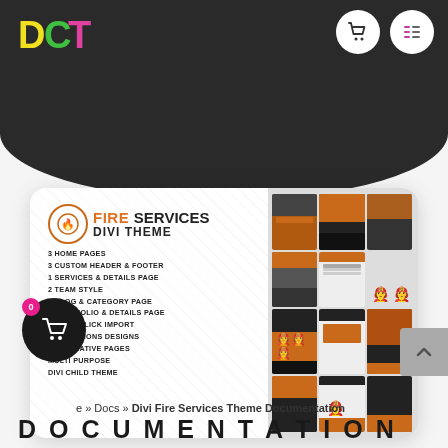[Figure (screenshot): DCT logo in top-left with colorful letters D, C, T in yellow, green, pink on dark background header]
[Figure (screenshot): Product card showing Fire Services Divi Theme with features list: 3 Home Pages, 3 Custom Header & Footer, 1 Services & Details Page, 2 Team Style, 2 Blog & Category Page, 1 Portfolio & Details Page, Single Click Import, 30+ Sections Designs, 25+ Creative Pages, Multi Purpose, Divi Child Theme. Right side shows website screenshot thumbnails.]
[Figure (screenshot): Dark circular shopping cart button with pink badge showing 0 in bottom left]
e » Docs » Divi Fire Services Theme Documentation
D O C U M E N T A T I O N